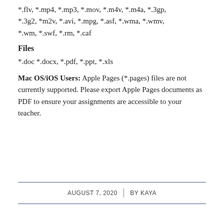*.flv, *.mp4, *.mp3, *.mov, *.m4v, *.m4a, *.3gp, *.3g2, *m2v, *.avi, *.mpg, *.asf, *.wma, *.wmv, *.wm, *.swf, *.rm, *.caf
Files
*.doc *.docx, *.pdf, *.ppt, *.xls
Mac OS/iOS Users: Apple Pages (*.pages) files are not currently supported. Please export Apple Pages documents as PDF to ensure your assignments are accessible to your teacher.
AUGUST 7, 2020 | BY KAYA